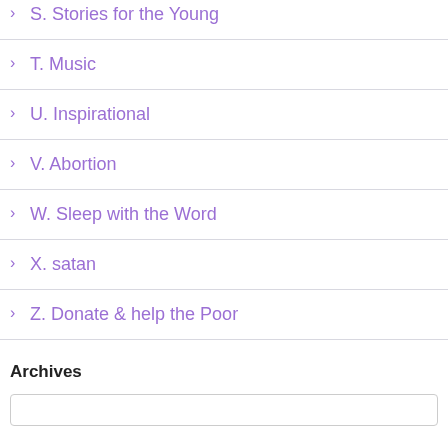> S. Stories for the Young
> T. Music
> U. Inspirational
> V. Abortion
> W. Sleep with the Word
> X. satan
> Z. Donate & help the Poor
Archives